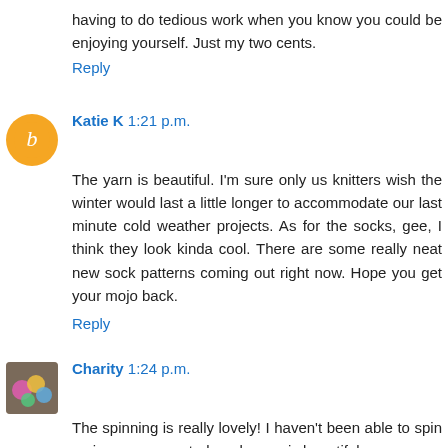having to do tedious work when you know you could be enjoying yourself. Just my two cents.
Reply
Katie K 1:21 p.m.
The yarn is beautiful. I'm sure only us knitters wish the winter would last a little longer to accommodate our last minute cold weather projects. As for the socks, gee, I think they look kinda cool. There are some really neat new sock patterns coming out right now. Hope you get your mojo back.
Reply
Charity 1:24 p.m.
The spinning is really lovely! I haven't been able to spin a nice, even worsted, and yours is beautiful.
I took a several month long break from socks, I just wasn't feeling it. I went ahead and committed myself to other